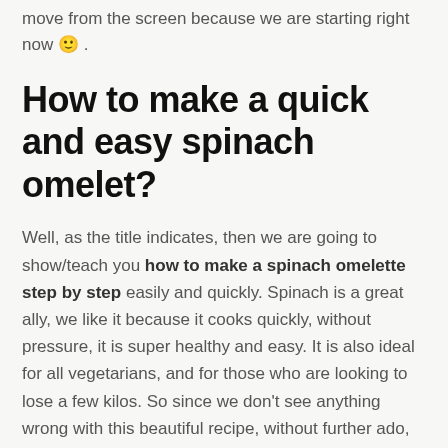move from the screen because we are starting right now 🙂 .
How to make a quick and easy spinach omelet?
Well, as the title indicates, then we are going to show/teach you how to make a spinach omelette step by step easily and quickly. Spinach is a great ally, we like it because it cooks quickly, without pressure, it is super healthy and easy. It is also ideal for all vegetarians, and for those who are looking to lose a few kilos. So since we don't see anything wrong with this beautiful recipe, without further ado, let's start with it.